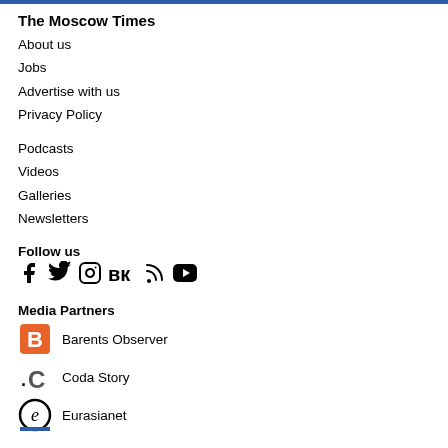The Moscow Times
About us
Jobs
Advertise with us
Privacy Policy
Podcasts
Videos
Galleries
Newsletters
Follow us
[Figure (infographic): Social media icons: Facebook, Twitter, Instagram, VK, RSS, YouTube]
Media Partners
[Figure (logo): Barents Observer logo - orange B]
Barents Observer
[Figure (logo): Coda Story logo - .C]
Coda Story
[Figure (logo): Eurasianet logo - e]
Eurasianet